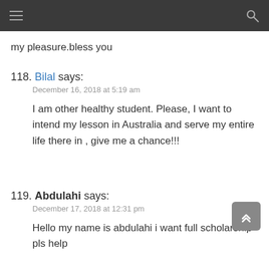[navigation bar with hamburger menu and search icon]
my pleasure.bless you
118. Bilal says:
December 16, 2018 at 5:19 am
I am other healthy student. Please, I want to intend my lesson in Australia and serve my entire life there in , give me a chance!!!
119. Abdulahi says:
December 17, 2018 at 12:31 pm
Hello my name is abdulahi i want full scholarship pls help